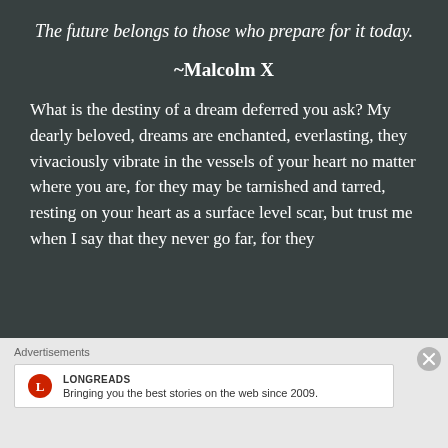The future belongs to those who prepare for it today.
~Malcolm X
What is the destiny of a dream deferred you ask? My dearly beloved, dreams are enchanted, everlasting, they vivaciously vibrate in the vessels of your heart no matter where you are, for they may be tarnished and tarred, resting on your heart as a surface level scar, but trust me when I say that they never go far, for they
Advertisements
LONGREADS
Bringing you the best stories on the web since 2009.